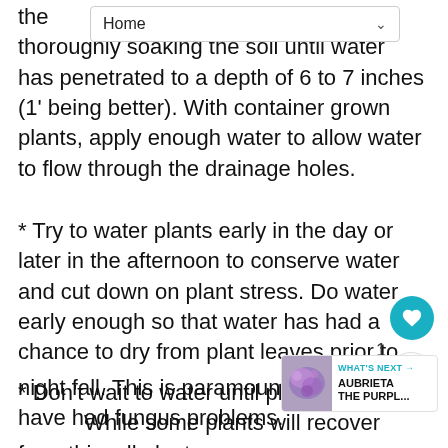Home
thoroughly soaking the soil until water has penetrated to a depth of 6 to 7 inches (1' being better). With container grown plants, apply enough water to allow water to flow through the drainage holes.
* Try to water plants early in the day or later in the afternoon to conserve water and cut down on plant stress. Do water early enough so that water has had a chance to dry from plant leaves prior to night fall. This is paramount i 1 you have had fungus problems.
* Don't wait to water until plants wilt. While some plants will recover from this, all plants will die if the soil is too parched for too long.